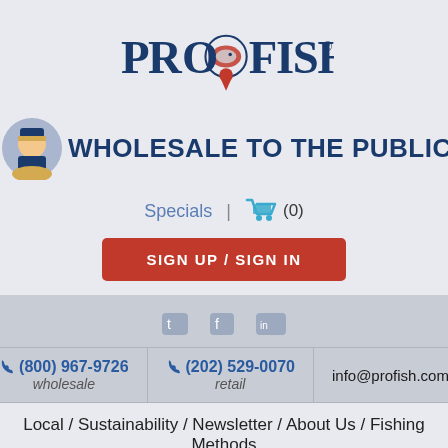[Figure (logo): ProFish logo with stylized fish and red location pin drop]
WHOLESALE TO THE PUBLIC NOW AVAILABLE
Specials | (0)
SIGN UP / SIGN IN
[Figure (illustration): Social media icons row]
(800) 967-9726 wholesale | (202) 529-0070 retail | info@profish.com
Local / Sustainability / Newsletter / About Us / Fishing Methods